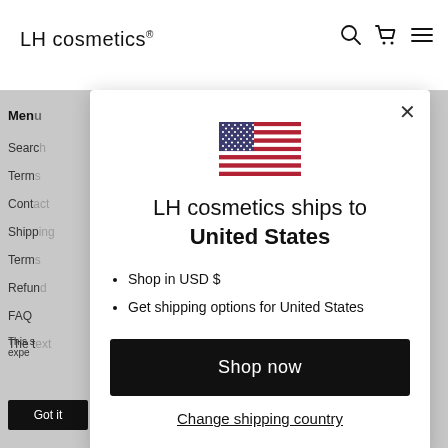LH cosmetics®
Menu
Search
Terms
Contact
Shipping
Terms
Refund
FAQ
The t
[Figure (screenshot): Modal dialog showing US flag, shipping information for United States, and a Shop now button]
LH cosmetics ships to United States
Shop in USD $
Get shipping options for United States
Shop now
Change shipping country